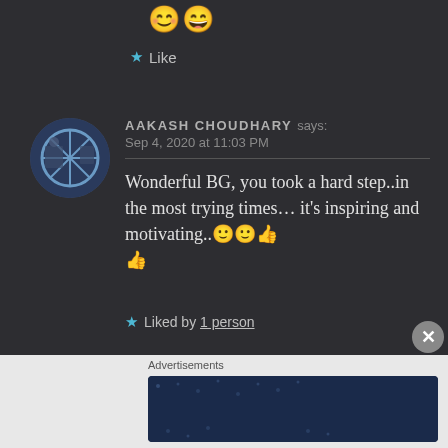😊😄
★ Like
AAKASH CHOUDHARY says:
Sep 4, 2020 at 11:03 PM
Wonderful BG, you took a hard step..in the most trying times... it's inspiring and motivating..🙂🙂👍👍
★ Liked by 1 person
Advertisements
[Figure (screenshot): Advertisement banner: Create surveys, polls, quizzes, and forms. WordPress and Create.com logos on dark blue starfield background.]